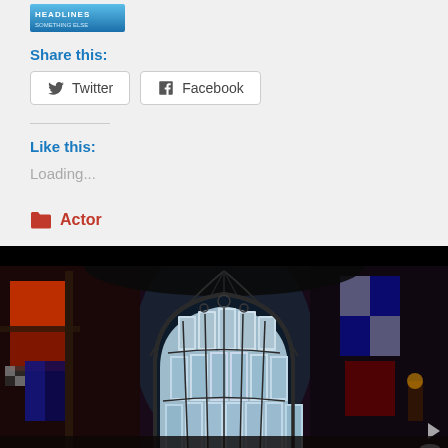[Figure (logo): Blue gradient logo/banner at top]
Share this:
Twitter  Facebook
Like this:
Loading...
Actor
[Figure (photo): Interior of a grand Gothic chapel or cathedral with large stained glass windows, heraldic banners and flags on the walls, dark atmospheric lighting]